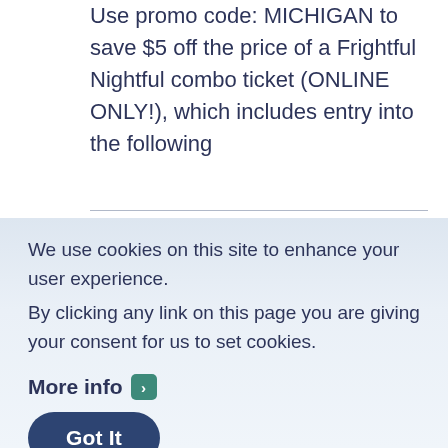Use promo code: MICHIGAN to save $5 off the price of a Frightful Nightful combo ticket (ONLINE ONLY!), which includes entry into the following
We use cookies on this site to enhance your user experience.
By clicking any link on this page you are giving your consent for us to set cookies.
More info ›
Got It